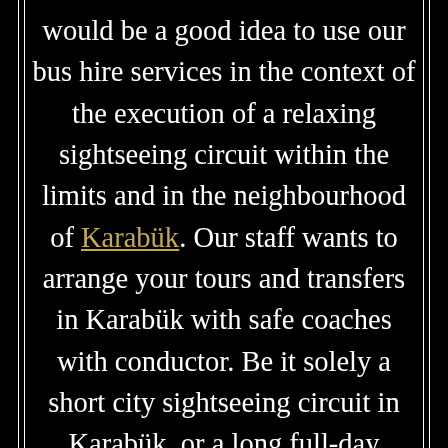would be a good idea to use our bus hire services in the context of the execution of a relaxing sightseeing circuit within the limits and in the neighbourhood of Karabük. Our staff wants to arrange your tours and transfers in Karabük with safe coaches with conductor. Be it solely a short city sightseeing circuit in Karabük, or a long full-day excursion to the numerous interesting places of interest of